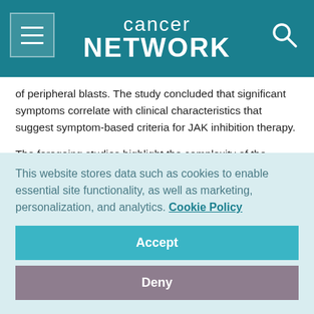cancer network
of peripheral blasts. The study concluded that significant symptoms correlate with clinical characteristics that suggest symptom-based criteria for JAK inhibition therapy.
The foregoing studies highlight the complexity of the relationships between disease severity, symptom burden, and management approach. In our view, it would be reasonable to consider initiation of JAK inhibition for patients with high or debilitating symptom burden despite a low DIPSS risk score.
This website stores data such as cookies to enable essential site functionality, as well as marketing, personalization, and analytics. Cookie Policy
Accept
Deny